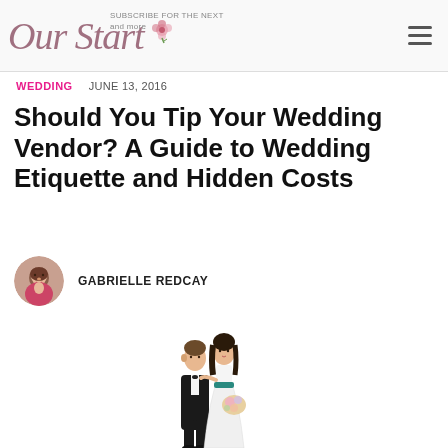Our Start
WEDDING   JUNE 13, 2016
Should You Tip Your Wedding Vendor? A Guide to Wedding Etiquette and Hidden Costs
GABRIELLE REDCAY
[Figure (photo): Wedding cake topper figurines of a bride and groom — the groom in a black tuxedo, the bride in a white gown holding a bouquet of flowers]